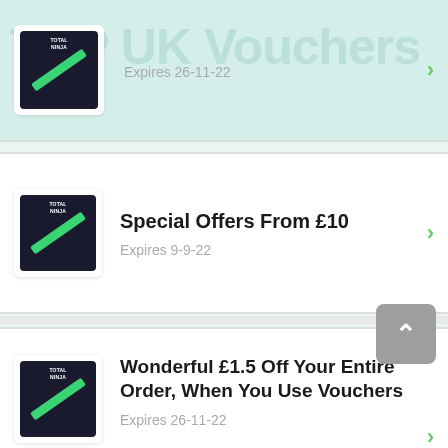[Figure (screenshot): Partial voucher card at top with teal background, shows Total Ninja logo and 'Expires 26-11-22' text with watermark 'TOP UK Vouchers']
Special Offers From £10 — Expires 9-9-22
Wonderful £1.5 Off Your Entire Order, When You Use Vouchers — Expires 26-11-22
Special Entertainment For £1.5